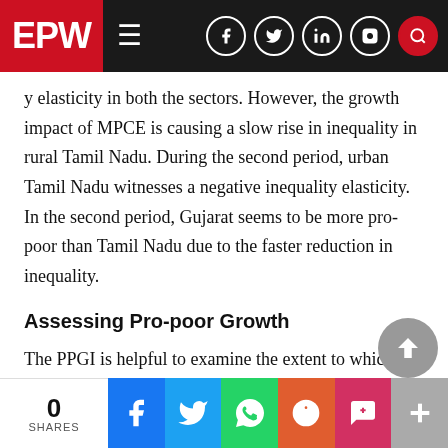EPW
...y elasticity in both the sectors. However, the growth impact of MPCE is causing a slow rise in inequality in rural Tamil Nadu. During the second period, urban Tamil Nadu witnesses a negative inequality elasticity. In the second period, Gujarat seems to be more pro-poor than Tamil Nadu due to the faster reduction in inequality.
Assessing Pro-poor Growth
The PPGI is helpful to examine the extent to which growth in a country or a state has been in favour of the poor or the non-poor. However, it may not be helpfu...
0 SHARES